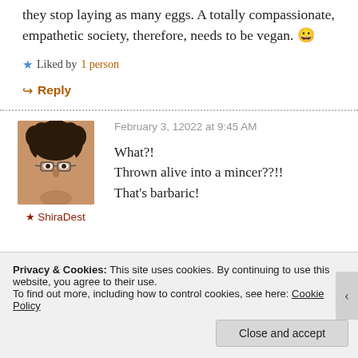they stop laying as many eggs. A totally compassionate, empathetic society, therefore, needs to be vegan. 😀
★ Liked by 1 person
↪ Reply
February 3, 12022 at 9:45 AM
[Figure (photo): Profile photo of ShiraDest, a person with curly dark hair and glasses, hand under chin]
★ ShiraDest
What?!
Thrown alive into a mincer??!!
That's barbaric!
Privacy & Cookies: This site uses cookies. By continuing to use this website, you agree to their use. To find out more, including how to control cookies, see here: Cookie Policy
Close and accept